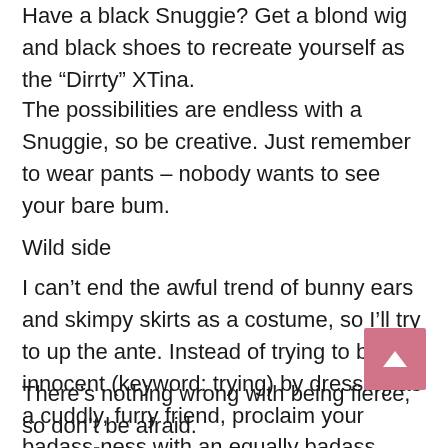Have a black Snuggie? Get a blond wig and black shoes to recreate yourself as the “Dirrty” XTina.
The possibilities are endless with a Snuggie, so be creative. Just remember to wear pants – nobody wants to see your bare bum.
Wild side
I can’t end the awful trend of bunny ears and skimpy skirts as a costume, so I’ll try to up the ante. Instead of trying to be innocent (keyword: trying) by dressing as a cuddly, furry friend, proclaim your badass-ness with an equally badass animal costume. For you Shark Week fans, take your great white costume out for a spin. If you’re a diehard cat lover, trade the ears for an untamed, intimidating mane.
There’s nothing wrong with being fierce, so don’t be afraid.